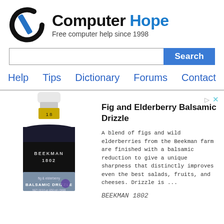[Figure (logo): Computer Hope logo: circular C with blue diagonal stripe, black and blue text reading 'Computer Hope', subtitle 'Free computer help since 1998']
Search
Help   Tips   Dictionary   Forums   Contact
[Figure (photo): Advertisement showing a dark glass bottle of Beekman 1802 Fig & Elderberry Balsamic Drizzle with a yellow/gold top, on a white background]
Fig and Elderberry Balsamic Drizzle
A blend of figs and wild elderberries from the Beekman farm are finished with a balsamic reduction to give a unique sharpness that distinctly improves even the best salads, fruits, and cheeses. Drizzle is ...
BEEKMAN 1802
$15